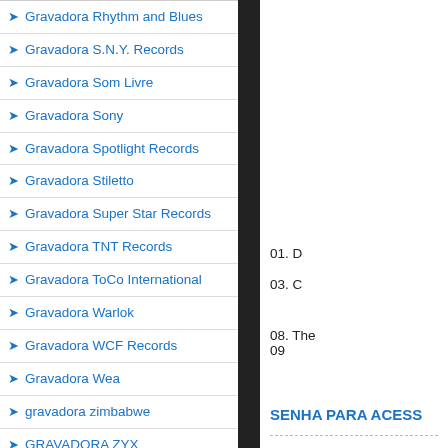Gravadora Rhythm and Blues
Gravadora S.N.Y. Records
Gravadora Som Livre
Gravadora Sony
Gravadora Spotlight Records
Gravadora Stiletto
Gravadora Super Star Records
Gravadora TNT Records
Gravadora ToCo International
Gravadora Warlok
Gravadora WCF Records
Gravadora Wea
gravadora zimbabwe
GRAVADORA ZYX
Guru Josh - Infinity
HADDAWAY
01. D
03. C
08. The
09
SENHA PARA ACESS